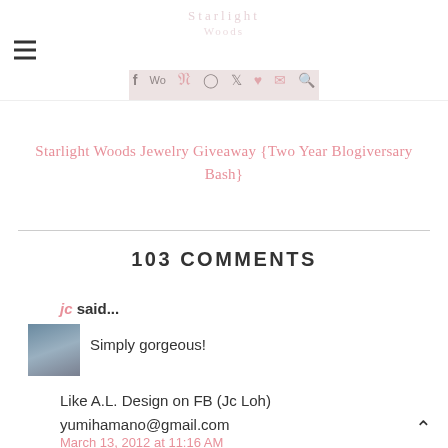Starlight Woods — navigation with social icons (f, Wo, P, Instagram, Twitter, heart, mail, search)
Starlight Woods Jewelry Giveaway {Two Year Blogiversary Bash}
103 COMMENTS
jc said...
Simply gorgeous!
Like A.L. Design on FB (Jc Loh)
yumihamano@gmail.com
March 13, 2012 at 11:16 AM